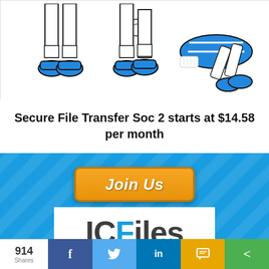[Figure (illustration): Cartoon illustration of football players' legs and feet wearing blue shoes/cleats, one player lying down injured with bandaged leg]
Secure File Transfer Soc 2 starts at $14.58 per month
[Figure (other): Blue diagonal striped banner with orange 'Join Us' button]
[Figure (logo): ICFiles logo on white background - IC in dark gray with F in blue, followed by 'iles' in dark gray]
914 Shares  [Facebook] [Twitter] [LinkedIn] [SMS] [Share]